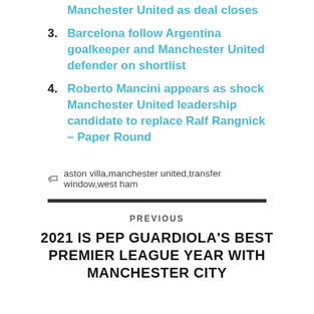Manchester United as deal closes
3. Barcelona follow Argentina goalkeeper and Manchester United defender on shortlist
4. Roberto Mancini appears as shock Manchester United leadership candidate to replace Ralf Rangnick – Paper Round
🏷 aston villa,manchester united,transfer window,west ham
PREVIOUS
2021 IS PEP GUARDIOLA'S BEST PREMIER LEAGUE YEAR WITH MANCHESTER CITY